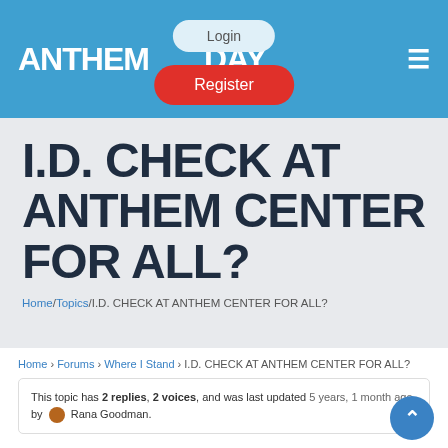ANTHEM TODAY
I.D. CHECK AT ANTHEM CENTER FOR ALL?
Home/Topics/I.D. CHECK AT ANTHEM CENTER FOR ALL?
Home › Forums › Where I Stand › I.D. CHECK AT ANTHEM CENTER FOR ALL?
This topic has 2 replies, 2 voices, and was last updated 5 years, 1 month ago by Rana Goodman.